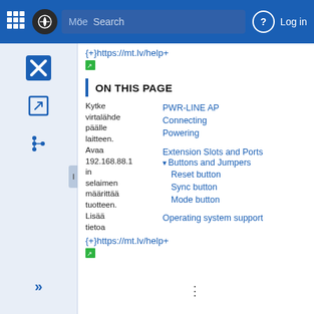MöE Search | Log in
{+}https://mt.lv/help+
ON THIS PAGE
Kytke virtalähde päälle laitteen. | PWR-LINE AP
Connecting
Powering
Avaa 192.168.88.1 in selaimen määrittää tuotteen. | Extension Slots and Ports
Buttons and Jumpers
Reset button
Lisää tietoa | Sync button
Mode button
Operating system support
{+}https://mt.lv/help+